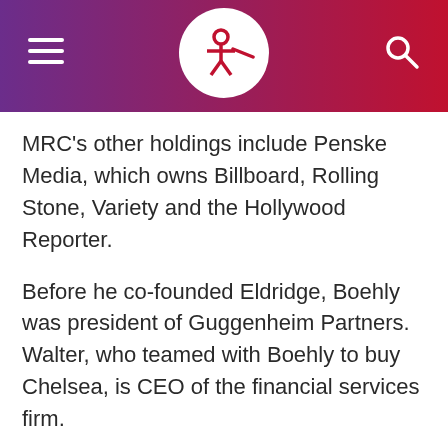[MRC news article header with logo]
MRC's other holdings include Penske Media, which owns Billboard, Rolling Stone, Variety and the Hollywood Reporter.
Before he co-founded Eldridge, Boehly was president of Guggenheim Partners. Walter, who teamed with Boehly to buy Chelsea, is CEO of the financial services firm.
Their first chance to see Chelsea win a trophy is next Saturday in the FA Cup final. Liverpool is the opponent at Wembley Stadium.